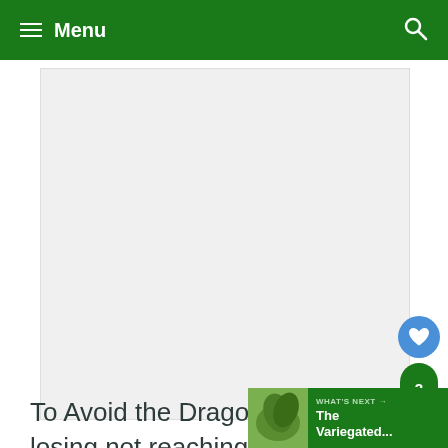≡ Menu
[Figure (photo): Large placeholder image area with light gray background, likely a plant or garden photo]
To Avoid the Dragon scale losing not reaching its full beauty, you need
WHAT'S NEXT → The Variegated...